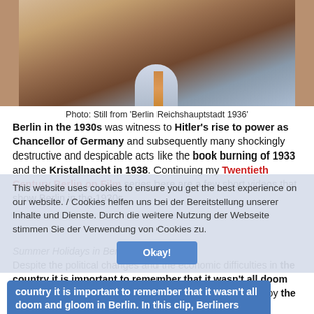[Figure (photo): Cropped close-up photograph of a man in a suit, appears to be a still from a 1930s film, brownish/sepia tones]
Photo: Still from ‘Berlin Reichshauptstadt 1936’
Berlin in the 1930s was witness to Hitler’s rise to power as Chancellor of Germany and subsequently many shockingly destructive and despicable acts like the book burning of 1933 and the Kristallnacht in 1938. Continuing my Twentieth Century Berlin on Film series here are a few short videos that show Berlin in the 1930s.
This website uses cookies to ensure you get the best experience on our website. / Cookies helfen uns bei der Bereitstellung unserer Inhalte und Dienste. Durch die weitere Nutzung der Webseite stimmen Sie der Verwendung von Cookies zu.
Summer Holidays in Berlin (1930)
Despite the political changes and the economic difficulties in the country it is important to remember that it wasn’t all doom and gloom in Berlin. In this clip, Berliners head out to enjoy the sunshine at the Wannsee.